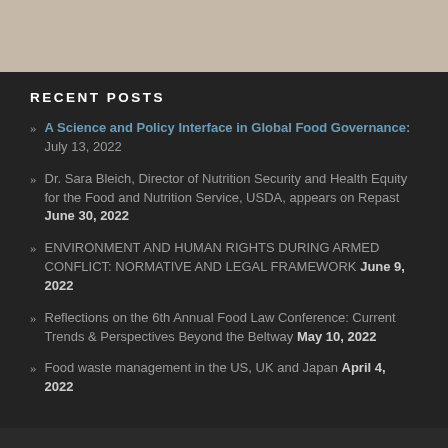RECENT POSTS
A Science and Policy Interface in Global Food Governance:  July 13, 2022
Dr. Sara Bleich, Director of Nutrition Security and Health Equity for the Food and Nutrition Service, USDA, appears on Repast  June 30, 2022
ENVIRONMENT AND HUMAN RIGHTS DURING ARMED CONFLICT: NORMATIVE AND LEGAL FRAMEWORK  June 9, 2022
Reflections on the 6th Annual Food Law Conference: Current Trends & Perspectives Beyond the Beltway  May 10, 2022
Food waste management in the US, UK and Japan  April 4, 2022